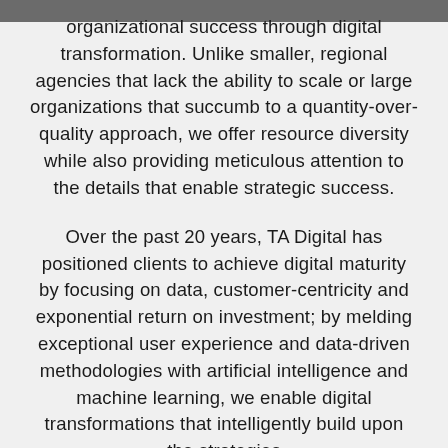organizational success through digital transformation. Unlike smaller, regional agencies that lack the ability to scale or large organizations that succumb to a quantity-over-quality approach, we offer resource diversity while also providing meticulous attention to the details that enable strategic success.
Over the past 20 years, TA Digital has positioned clients to achieve digital maturity by focusing on data, customer-centricity and exponential return on investment; by melding exceptional user experience and data-driven methodologies with artificial intelligence and machine learning, we enable digital transformations that intelligently build upon the strategies